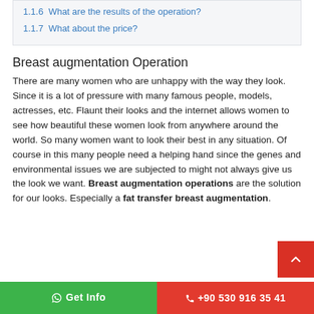1.1.6  What are the results of the operation?
1.1.7  What about the price?
Breast augmentation Operation
There are many women who are unhappy with the way they look. Since it is a lot of pressure with many famous people, models, actresses, etc. Flaunt their looks and the internet allows women to see how beautiful these women look from anywhere around the world. So many women want to look their best in any situation. Of course in this many people need a helping hand since the genes and environmental issues we are subjected to might not always give us the look we want. Breast augmentation operations are the solution for our looks. Especially a fat transfer breast augmentation.
Get Info   +90 530 916 35 41